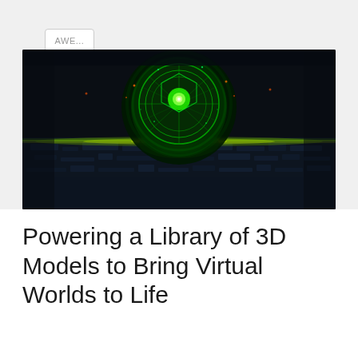AWE...
[Figure (illustration): Dark sci-fi 3D render showing a glowing green geometric sphere/orb emitting light, hovering above a dark reflective surface that resembles a circuit board or map. Green and yellow light streaks radiate outward across the surface. The overall mood is dark with vivid green bioluminescent lighting effects.]
Powering a Library of 3D Models to Bring Virtual Worlds to Life